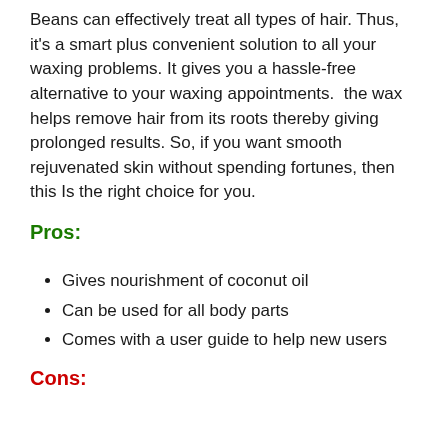Beans can effectively treat all types of hair. Thus, it's a smart plus convenient solution to all your waxing problems. It gives you a hassle-free alternative to your waxing appointments.  the wax helps remove hair from its roots thereby giving prolonged results. So, if you want smooth rejuvenated skin without spending fortunes, then this Is the right choice for you.
Pros:
Gives nourishment of coconut oil
Can be used for all body parts
Comes with a user guide to help new users
Cons: